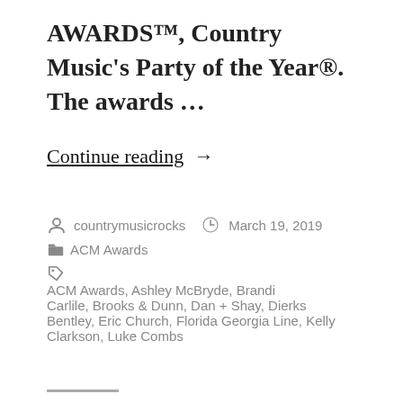AWARDS™, Country Music's Party of the Year®. The awards …
Continue reading →
Posted by countrymusicrocks   March 19, 2019
Categories: ACM Awards
Tags: ACM Awards, Ashley McBryde, Brandi Carlile, Brooks & Dunn, Dan + Shay, Dierks Bentley, Eric Church, Florida Georgia Line, Kelly Clarkson, Luke Combs